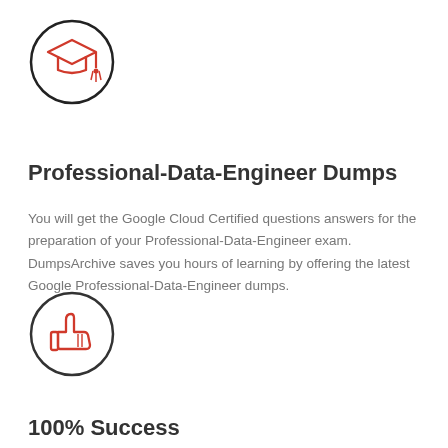[Figure (illustration): A red graduation cap icon inside a black circle]
Professional-Data-Engineer Dumps
You will get the Google Cloud Certified questions answers for the preparation of your Professional-Data-Engineer exam. DumpsArchive saves you hours of learning by offering the latest Google Professional-Data-Engineer dumps.
[Figure (illustration): A red thumbs-up icon inside a black circle]
100% Success